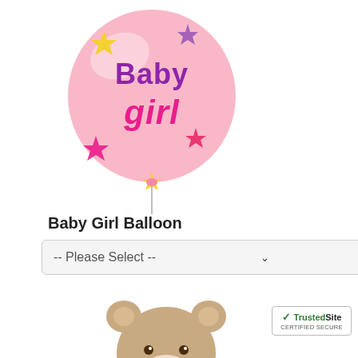[Figure (photo): Pink round balloon with 'Baby Girl' text in purple and pink lettering, decorated with colorful stars]
Baby Girl Balloon
[Figure (other): A dropdown/select form element with placeholder text '-- Please Select --']
[Figure (photo): Plush teddy bear (beige/tan colored) with a bow tie, sitting upright — 18 inch Lotsa Love Bear]
18" Lotsa Love® Bear
[Figure (logo): TrustedSite Certified Secure badge in bottom right corner]